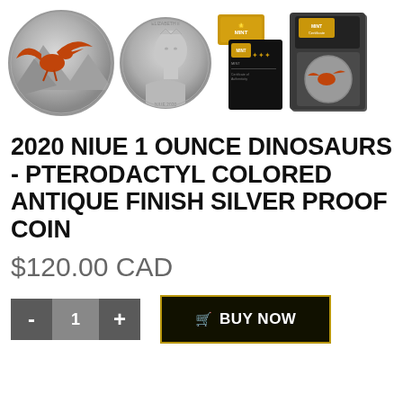[Figure (photo): Product images showing two sides of a silver coin featuring a colored pterodactyl (obverse and reverse), certificate of authenticity cards, and a display box with the coin inside.]
2020 NIUE 1 OUNCE DINOSAURS - PTERODACTYL COLORED ANTIQUE FINISH SILVER PROOF COIN
$120.00 CAD
- 1 + BUY NOW